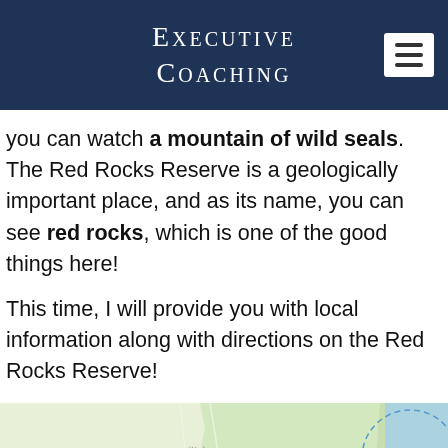Executive Coaching
you can watch a mountain of wild seals. The Red Rocks Reserve is a geologically important place, and as its name, you can see red rocks, which is one of the good things here!
This time, I will provide you with local information along with directions on the Red Rocks Reserve!
[Figure (map): Google Maps screenshot showing the Wellington, New Zealand area with Japanese labels. Map shows the North Island coastline with various location pins and labels around Wellington (ウェリントン / Wellington). Teal/green location markers visible clustered around Wellington. A dashed circle outline visible in the upper right area of the map over the ocean.]